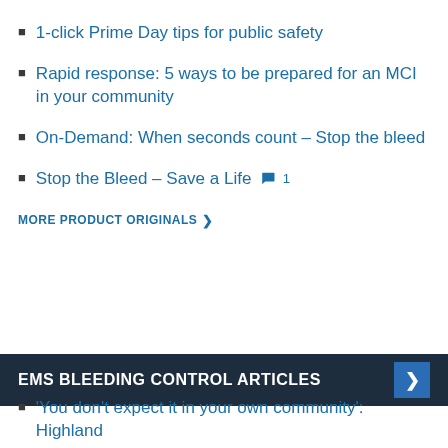1-click Prime Day tips for public safety
Rapid response: 5 ways to be prepared for an MCI in your community
On-Demand: When seconds count – Stop the bleed
Stop the Bleed – Save a Life 💬 1
MORE PRODUCT ORIGINALS >
EMS BLEEDING CONTROL ARTICLES
'You don't expect it in your own community': Highland